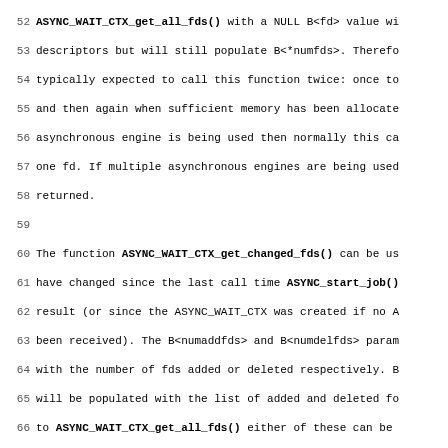Lines 52-83 of a manual/documentation page about ASYNC_WAIT_CTX functions in OpenSSL, showing text about ASYNC_WAIT_CTX_get_all_fds(), ASYNC_WAIT_CTX_get_changed_fds(), ASYNC_WAIT_CTX_set_wait_fd(), and related async engine file descriptor management.